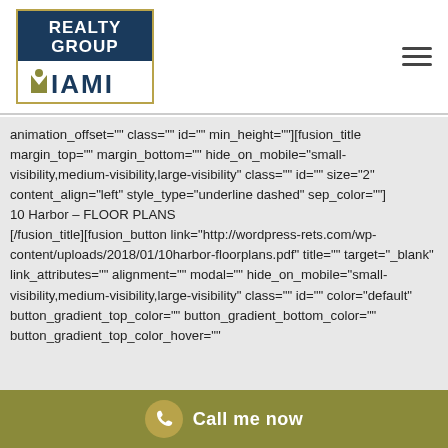[Figure (logo): Realty Group of Miami logo with dark blue background on top portion and gold border]
animation_offset="" class="" id="" min_height=""][fusion_title margin_top="" margin_bottom="" hide_on_mobile="small-visibility,medium-visibility,large-visibility" class="" id="" size="2" content_align="left" style_type="underline dashed" sep_color=""] 10 Harbor – FLOOR PLANS [/fusion_title][fusion_button link="http://wordpress-rets.com/wp-content/uploads/2018/01/10harbor-floorplans.pdf" title="" target="_blank" link_attributes="" alignment="" modal="" hide_on_mobile="small-visibility,medium-visibility,large-visibility" class="" id="" color="default" button_gradient_top_color="" button_gradient_bottom_color="" button_gradient_top_color_hover=""
[Figure (other): Call me now button with phone icon on olive/khaki background]